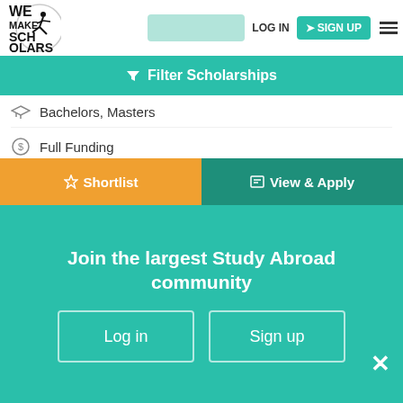[Figure (logo): We Make Scholars logo with silhouette figure in circle]
LOG IN   SIGN UP
Filter Scholarships
Bachelors, Masters
Full Funding
Archaeology, Humanities, Medicine, Governance and Global Affairs, Law, Social and Behavioural Sciences, Science,
Open for Indonesian Nationals
Leiden University
Shortlist   View & Apply
Join the largest Study Abroad community
Log in   Sign up